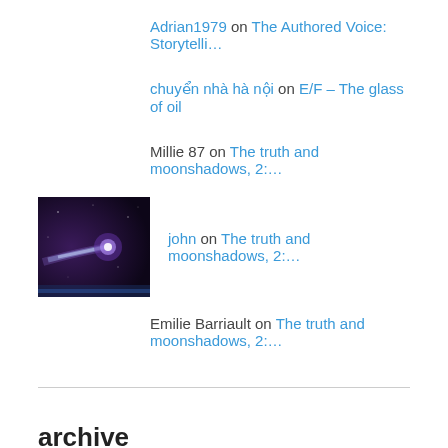Adrian1979 on The Authored Voice: Storytelli…
chuyển nhà hà nội on E/F – The glass of oil
Millie 87 on The truth and moonshadows, 2:…
[Figure (photo): Small thumbnail avatar image showing a comet or space object with purple/dark background and bright light trail]
john on The truth and moonshadows, 2:…
Emilie Barriault on The truth and moonshadows, 2:…
archive
July 2015 (1)
June 2015 (1)
May 2015 (1)
March 2015 (1)